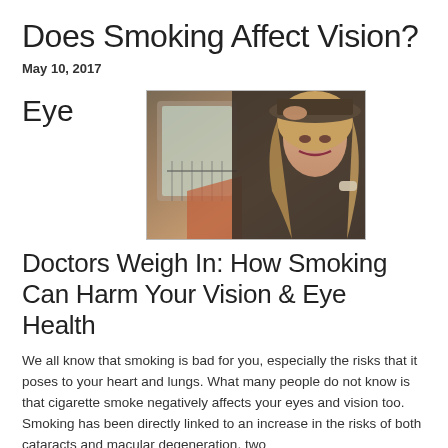Does Smoking Affect Vision?
May 10, 2017
Eye
[Figure (photo): A blonde woman in dark clothing touching the brim of a hat, with an ornate architectural background featuring a balcony and stairs]
Doctors Weigh In: How Smoking Can Harm Your Vision & Eye Health
We all know that smoking is bad for you, especially the risks that it poses to your heart and lungs. What many people do not know is that cigarette smoke negatively affects your eyes and vision too. Smoking has been directly linked to an increase in the risks of both cataracts and macular degeneration, two